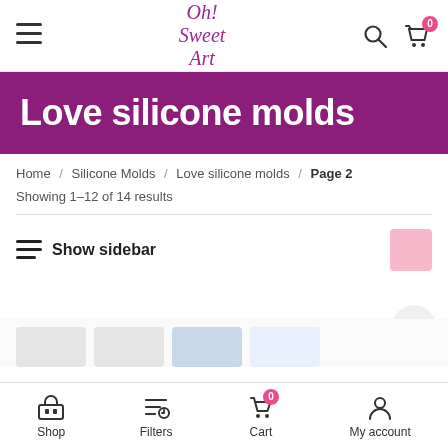Oh! Sweet Art — navigation header with hamburger menu, logo, search and cart icons
Love silicone molds
Home / Silicone Molds / Love silicone molds / Page 2
Showing 1–12 of 14 results
Show sidebar
Shop | Filters | Cart | My account